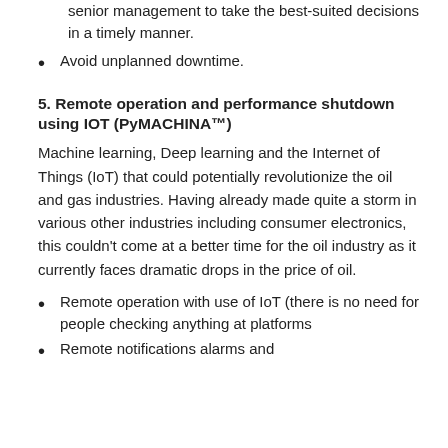senior management to take the best-suited decisions in a timely manner.
Avoid unplanned downtime.
5. Remote operation and performance shutdown using IOT (PyMACHINA™)
Machine learning, Deep learning and the Internet of Things (IoT) that could potentially revolutionize the oil and gas industries. Having already made quite a storm in various other industries including consumer electronics, this couldn't come at a better time for the oil industry as it currently faces dramatic drops in the price of oil.
Remote operation with use of IoT (there is no need for people checking anything at platforms
Remote notifications alarms and